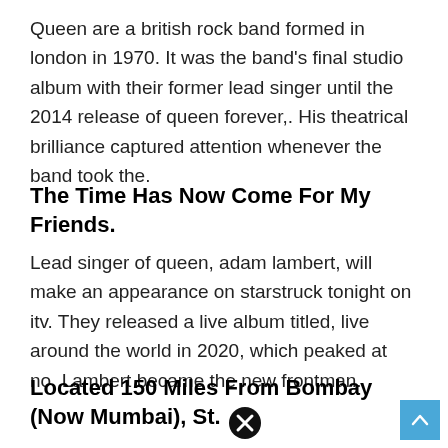Queen are a british rock band formed in london in 1970. It was the band's final studio album with their former lead singer until the 2014 release of queen forever,. His theatrical brilliance captured attention whenever the band took the.
The Time Has Now Come For My Friends.
Lead singer of queen, adam lambert, will make an appearance on starstruck tonight on itv. They released a live album titled, live around the world in 2020, which peaked at no. Lambert became the new frontman.
Located 150 Miles From Bombay (Now Mumbai), St.